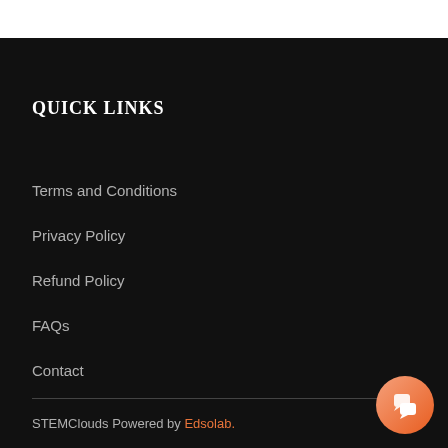QUICK LINKS
Terms and Conditions
Privacy Policy
Refund Policy
FAQs
Contact
STEMClouds Powered by Edsolab.
Privacy Policy   Terms and Conditions   Sitemap   Cont…